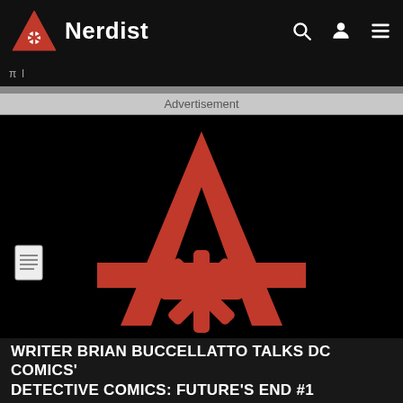Nerdist
π  l
Advertisement
[Figure (logo): Large red letter A with an asterisk/snowflake symbol at its center base, on a black background — Nerdist logo graphic for DC Comics Future's End article]
WRITER BRIAN BUCCELLATTO TALKS DC COMICS' DETECTIVE COMICS: FUTURE'S END #1